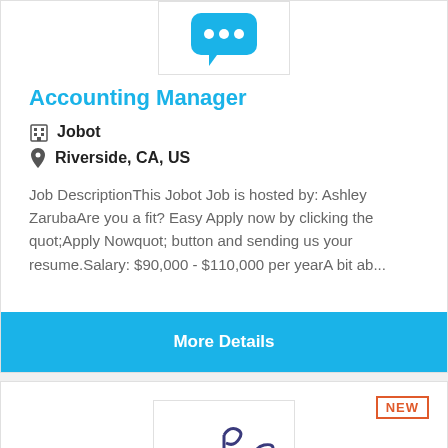[Figure (logo): Jobot logo (blue chat bubble icon) in a bordered box]
Accounting Manager
🏢 Jobot
📍 Riverside, CA, US
Job DescriptionThis Jobot Job is hosted by: Ashley ZarubaAre you a fit? Easy Apply now by clicking the quot;Apply Nowquot; button and sending us your resume.Salary: $90,000 - $110,000 per yearA bit ab...
More Details
NEW
[Figure (logo): Aladdin lamp / genie lamp icon in dark blue/purple, inside a bordered box]